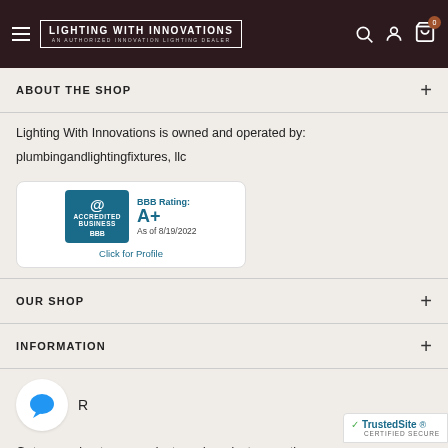Lighting With Innovations — An Authorized Innovation Lighting Dealer
ABOUT THE SHOP
Lighting With Innovations is owned and operated by:
plumbingandlightingfixtures, llc
[Figure (screenshot): BBB Accredited Business badge showing BBB Rating: A+ as of 8/19/2022, Click for Profile]
OUR SHOP
INFORMATION
[Figure (illustration): Blue chat bubble icon inside white circle]
R
[Figure (logo): TrustedSite Certified Secure badge]
Get news about new products and product promotions.